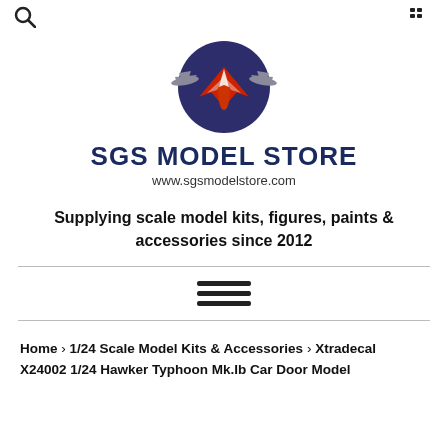🔍  🛒
[Figure (logo): SGS Model Store logo: dark navy circle with red and white eagle/aircraft emblem and grey aircraft silhouettes on either side]
SGS MODEL STORE
www.sgsmodelstore.com
Supplying scale model kits, figures, paints & accessories since 2012
[Figure (other): Hamburger menu icon — three horizontal bars]
Home › 1/24 Scale Model Kits & Accessories › Xtradecal X24002 1/24 Hawker Typhoon Mk.Ib Car Door Model